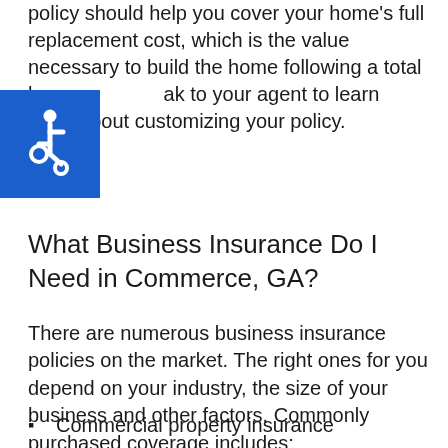policy should help you cover your home's full replacement cost, which is the value necessary to rebuild the home following a total loss. Speak to your agent to learn more about customizing your policy.
[Figure (illustration): Blue square accessibility icon with wheelchair symbol in white]
What Business Insurance Do I Need in Commerce, GA?
There are numerous business insurance policies on the market. The right ones for you depend on your industry, the size of your business and other factors. Commonly purchased coverage includes:
Commercial property insurance